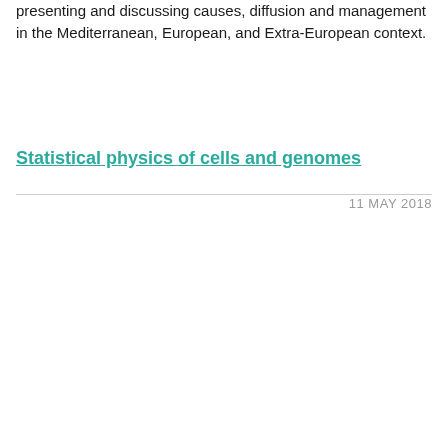presenting and discussing causes, diffusion and management in the Mediterranean, European, and Extra-European context.
Statistical physics of cells and genomes
11 MAY 2018